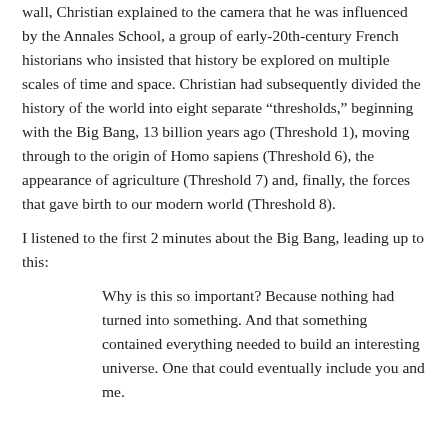wall, Christian explained to the camera that he was influenced by the Annales School, a group of early-20th-century French historians who insisted that history be explored on multiple scales of time and space. Christian had subsequently divided the history of the world into eight separate “thresholds,” beginning with the Big Bang, 13 billion years ago (Threshold 1), moving through to the origin of Homo sapiens (Threshold 6), the appearance of agriculture (Threshold 7) and, finally, the forces that gave birth to our modern world (Threshold 8).
I listened to the first 2 minutes about the Big Bang, leading up to this:
Why is this so important? Because nothing had turned into something. And that something contained everything needed to build an interesting universe. One that could eventually include you and me.